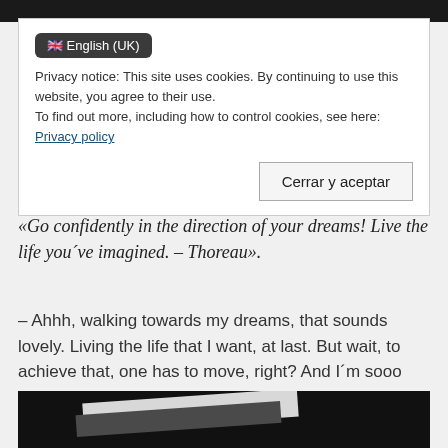[Figure (screenshot): Top black navigation banner strip]
English (UK) — language selector pill
Privacy notice: This site uses cookies. By continuing to use this website, you agree to their use. To find out more, including how to control cookies, see here: Privacy policy
Cerrar y aceptar
«Go confidently in the direction of your dreams! Live the life you´ve imagined. – Thoreau».
– Ahhh, walking towards my dreams, that sounds lovely. Living the life that I want, at last. But wait, to achieve that, one has to move, right? And I´m sooo comfy here...
[Figure (photo): Dark background photo showing angled white and dark slides/cards]